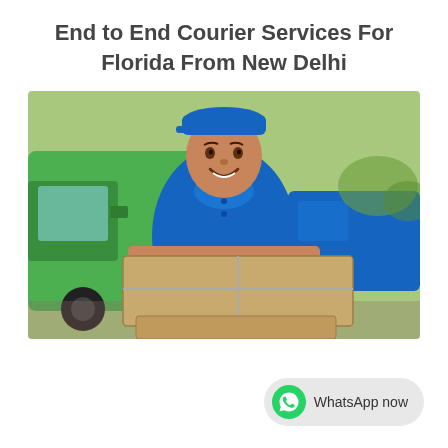End to End Courier Services For Florida From New Delhi
[Figure (photo): A smiling delivery man in a blue uniform and cap holding cardboard boxes, with a green delivery van and a blue van in the background.]
WhatsApp now